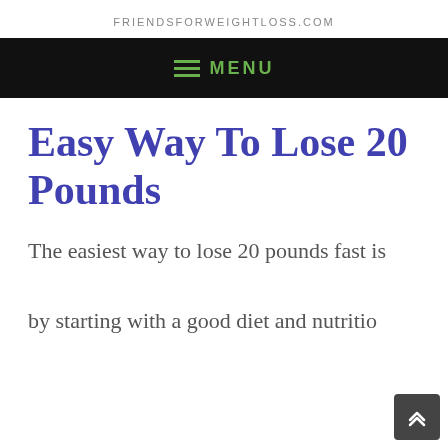FRIENDSFORWEIGHTLOSS.COM
Easy Way To Lose 20 Pounds
The easiest way to lose 20 pounds fast is by starting with a good diet and nutritio…